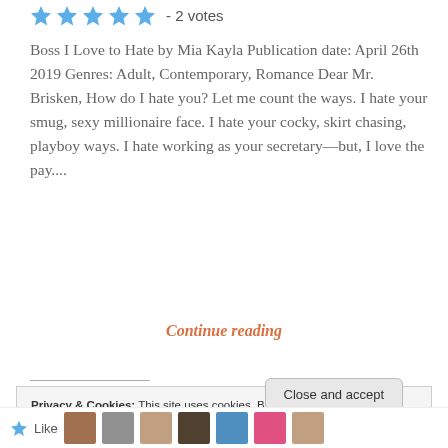[Figure (other): Five blue star rating icons followed by '- 2 votes' text]
Boss I Love to Hate by Mia Kayla Publication date: April 26th 2019 Genres: Adult, Contemporary, Romance Dear Mr. Brisken, How do I hate you? Let me count the ways. I hate your smug, sexy millionaire face. I hate your cocky, skirt chasing, playboy ways. I hate working as your secretary—but, I love the pay....
Continue reading
Privacy & Cookies: This site uses cookies. By continuing to use this website, you agree to their use.
To find out more, including how to control cookies, see here: Cookie Policy
Close and accept